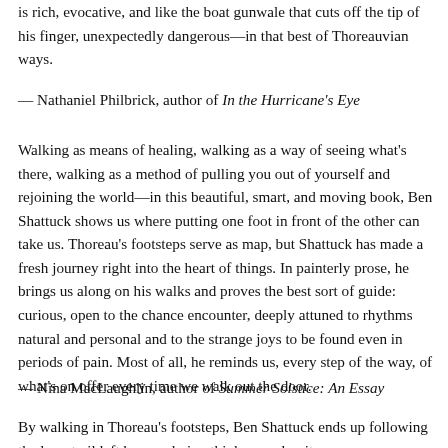is rich, evocative, and like the boat gunwale that cuts off the tip of his finger, unexpectedly dangerous—in that best of Thoreauvian ways.
— Nathaniel Philbrick, author of In the Hurricane's Eye
Walking as means of healing, walking as a way of seeing what's there, walking as a method of pulling you out of yourself and rejoining the world—in this beautiful, smart, and moving book, Ben Shattuck shows us where putting one foot in front of the other can take us. Thoreau's footsteps serve as map, but Shattuck has made a fresh journey right into the heart of things. In painterly prose, he brings us along on his walks and proves the best sort of guide: curious, open to the chance encounter, deeply attuned to rhythms natural and personal and to the strange joys to be found even in periods of pain. Most of all, he reminds us, every step of the way, of what's on offer every time we walk out the door.
— Nina MacLaughlin, author of Summer Solstice: An Essay
By walking in Thoreau's footsteps, Ben Shattuck ends up following the long trail left by wandering thinkers and writers